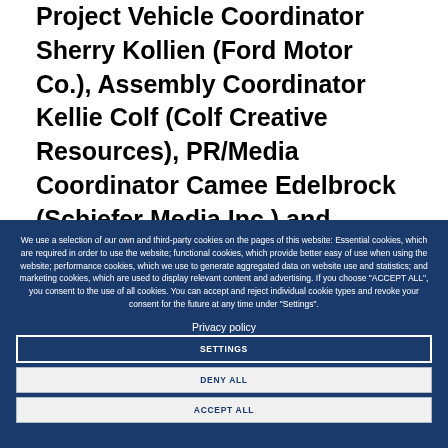Project Vehicle Coordinator Sherry Kollien (Ford Motor Co.), Assembly Coordinator Kellie Colf (Colf Creative Resources), PR/Media Coordinator Camee Edelbrock (Schiefer Media Inc.) and Product Coordinator Susan S... (JR Products) Advisors include Mike C...
We use a selection of our own and third-party cookies on the pages of this website: Essential cookies, which are required in order to use the website; functional cookies, which provide better easy of use when using the website; performance cookies, which we use to generate aggregated data on website use and statistics; and marketing cookies, which are used to display relevant content and advertising. If you choose "ACCEPT ALL", you consent to the use of all cookies. You can accept and reject individual cookie types and revoke your consent for the future at any time under "Settings".
Privacy policy
SETTINGS
DENY ALL
ACCEPT ALL